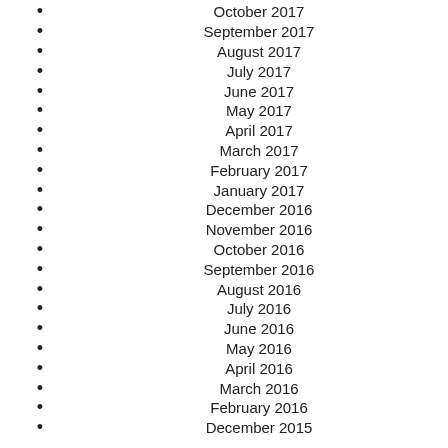October 2017
September 2017
August 2017
July 2017
June 2017
May 2017
April 2017
March 2017
February 2017
January 2017
December 2016
November 2016
October 2016
September 2016
August 2016
July 2016
June 2016
May 2016
April 2016
March 2016
February 2016
December 2015